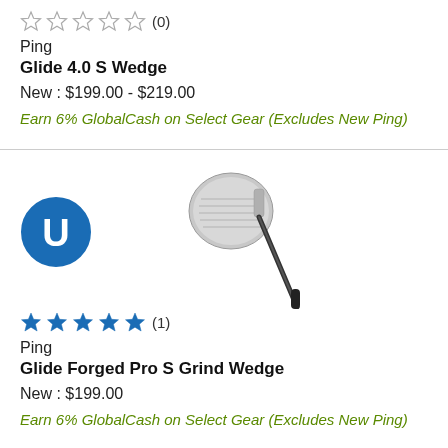[Figure (other): Star rating showing 0 filled stars out of 5 (empty stars) with review count (0)]
Ping
Glide 4.0 S Wedge
New : $199.00 - $219.00
Earn 6% GlobalCash on Select Gear (Excludes New Ping)
[Figure (photo): Ping Glide Forged Pro S Grind Wedge golf club product photo with GlobalGolf U logo badge]
[Figure (other): Star rating showing 5 filled stars out of 5 with review count (1)]
Ping
Glide Forged Pro S Grind Wedge
New : $199.00
Earn 6% GlobalCash on Select Gear (Excludes New Ping)